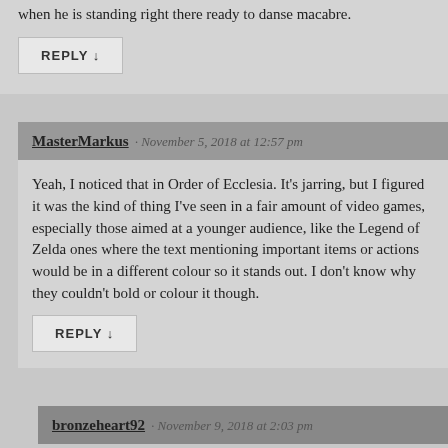when he is standing right there ready to danse macabre.
REPLY ↓
MasterMarkus · November 5, 2018 at 12:57 pm
Yeah, I noticed that in Order of Ecclesia. It's jarring, but I figured it was the kind of thing I've seen in a fair amount of video games, especially those aimed at a younger audience, like the Legend of Zelda ones where the text mentioning important items or actions would be in a different colour so it stands out. I don't know why they couldn't bold or colour it though.
REPLY ↓
bronzeheart92 · November 9, 2018 at 2:03 pm